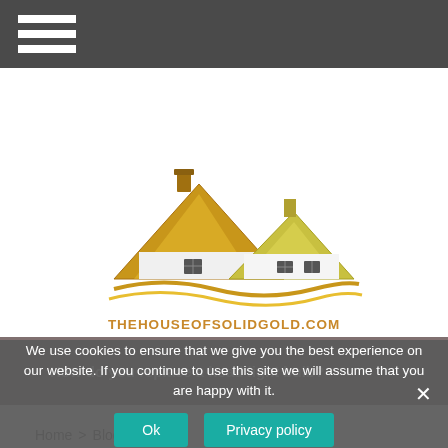Navigation menu (hamburger icon)
[Figure (logo): The House of Solid Gold logo — gold house rooftops graphic above the text THEHOUSEOFSOLIDGOLD.COM]
[Figure (other): Orange hamburger menu icon (three horizontal lines)]
Home > Blog >
How do you replace a head light bulb?
We use cookies to ensure that we give you the best experience on our website. If you continue to use this site we will assume that you are happy with it.
Ok  Privacy policy